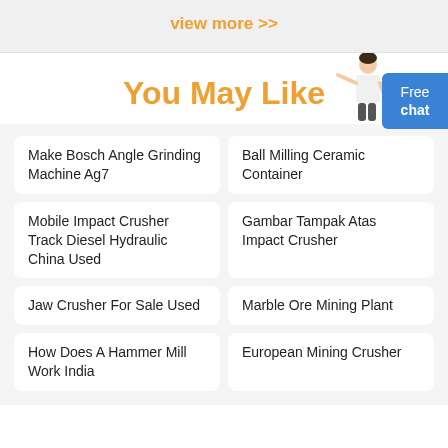view more >>
You May Like
Make Bosch Angle Grinding Machine Ag7
Ball Milling Ceramic Container
Mobile Impact Crusher Track Diesel Hydraulic China Used
Gambar Tampak Atas Impact Crusher
Jaw Crusher For Sale Used
Marble Ore Mining Plant
How Does A Hammer Mill Work India
European Mining Crusher